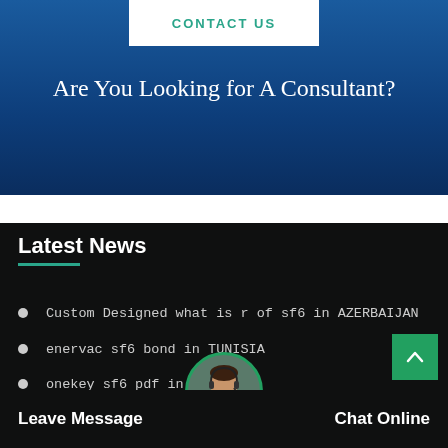CONTACT US
Are You Looking for A Consultant?
Latest News
Custom Designed what is r of sf6 in AZERBAIJAN
enervac sf6 bond in TUNISIA
onekey sf6 pdf in MALAYSIA
Custom Designed sf6 testing in [partially obscured]
wika sf6 for sale in HONG KONG
Leave Message
Chat Online